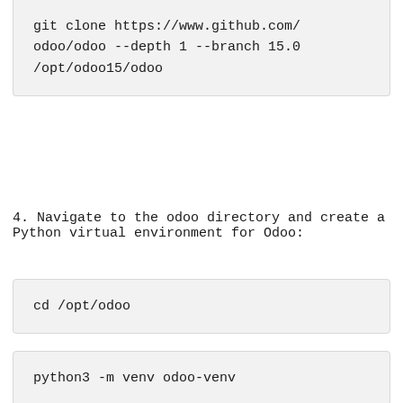git clone https://www.github.com/odoo/odoo --depth 1 --branch 15.0 /opt/odoo15/odoo
4. Navigate to the odoo directory and create a Python virtual environment for Odoo:
cd /opt/odoo
python3 -m venv odoo-venv